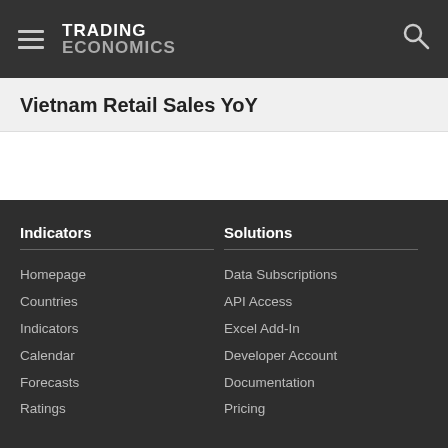TRADING ECONOMICS
Vietnam Retail Sales YoY
Indicators
Homepage
Countries
Indicators
Calendar
Forecasts
Ratings
Solutions
Data Subscriptions
API Access
Excel Add-In
Developer Account
Documentation
Pricing